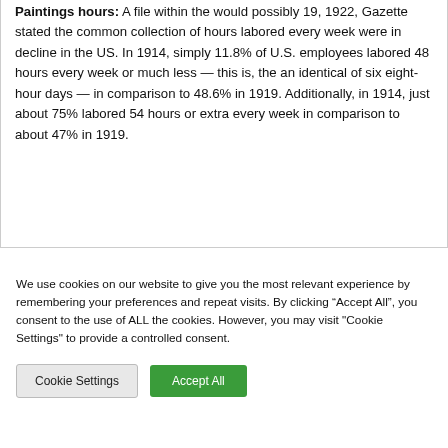Paintings hours: A file within the would possibly 19, 1922, Gazette stated the common collection of hours labored every week were in decline in the US. In 1914, simply 11.8% of U.S. employees labored 48 hours every week or much less — this is, the an identical of six eight-hour days — in comparison to 48.6% in 1919. Additionally, in 1914, just about 75% labored 54 hours or extra every week in comparison to about 47% in 1919.
We use cookies on our website to give you the most relevant experience by remembering your preferences and repeat visits. By clicking "Accept All", you consent to the use of ALL the cookies. However, you may visit "Cookie Settings" to provide a controlled consent.